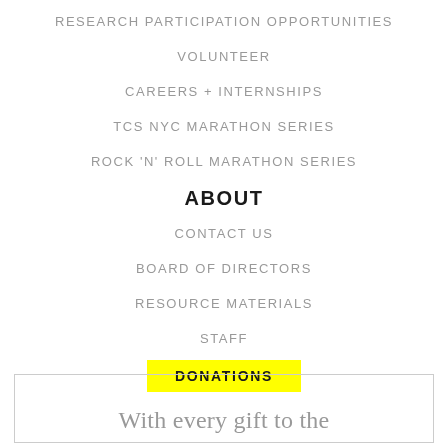RESEARCH PARTICIPATION OPPORTUNITIES
VOLUNTEER
CAREERS + INTERNSHIPS
TCS NYC MARATHON SERIES
ROCK 'N' ROLL MARATHON SERIES
ABOUT
CONTACT US
BOARD OF DIRECTORS
RESOURCE MATERIALS
STAFF
DONATIONS
With every gift to the